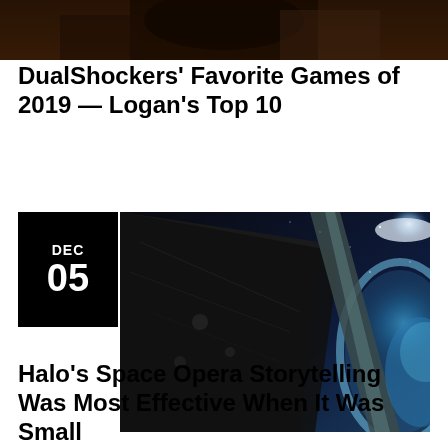[Figure (photo): Dark background image at top of page, appears to show a character or figure from a game]
DualShockers’ Favorite Games of 2019 — Logan’s Top 10
[Figure (photo): Space scene from Halo game showing a large dark spacecraft or Halo ring structure against a blue starfield with planet Earth visible]
Halo’s Space Opera Storytelling Was Most Effective When It Was Small